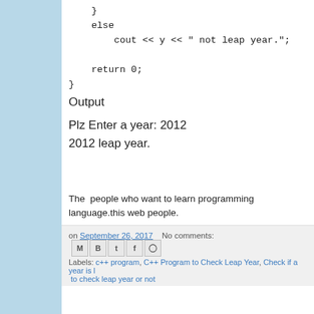}
    else
        cout << y << " not leap year.";

    return 0;
}
Output
Plz Enter a year: 2012
2012 leap year.
The  people who want to learn programming language.this web people.
on September 26, 2017   No comments:   [share icons]
Labels: c++ program, C++ Program to Check Leap Year, Check if a year is ... to check leap year or not